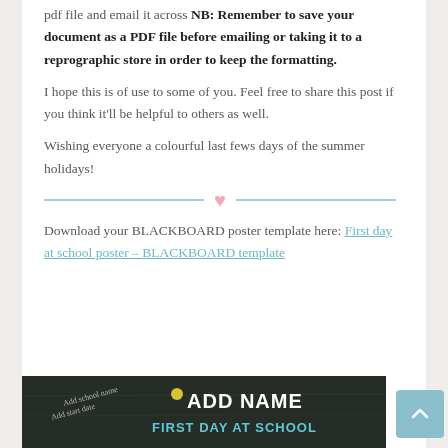pdf file and email it across NB: Remember to save your document as a PDF file before emailing or taking it to a reprographic store in order to keep the formatting.
I hope this is of use to some of you. Feel free to share this post if you think it'll be helpful to others as well.
Wishing everyone a colourful last fews days of the summer holidays!
[Figure (other): Decorative divider with a pink heart in the center flanked by light blue horizontal lines]
Download your BLACKBOARD poster template here: First day at school poster – BLACKBOARD template
[Figure (photo): Blackboard poster template preview showing 'ADD NAME FIRST DAY AT SCHOOL' text with 'Add school name' and 'Add start date' labels on a dark chalkboard background]